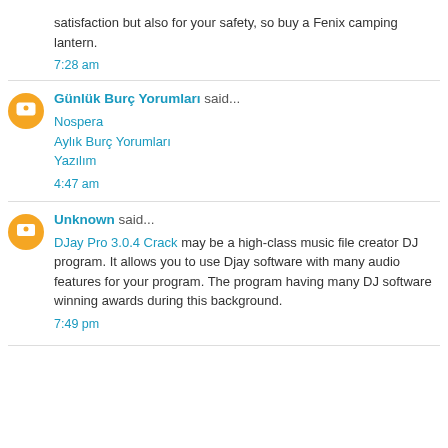satisfaction but also for your safety, so buy a Fenix camping lantern.
7:28 am
Günlük Burç Yorumları said...
Nospera
Aylık Burç Yorumları
Yazılım
4:47 am
Unknown said...
DJay Pro 3.0.4 Crack may be a high-class music file creator DJ program. It allows you to use Djay software with many audio features for your program. The program having many DJ software winning awards during this background.
7:49 pm